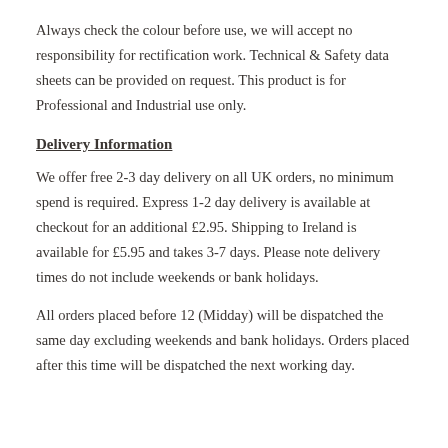Always check the colour before use, we will accept no responsibility for rectification work. Technical & Safety data sheets can be provided on request. This product is for Professional and Industrial use only.
Delivery Information
We offer free 2-3 day delivery on all UK orders, no minimum spend is required. Express 1-2 day delivery is available at checkout for an additional £2.95. Shipping to Ireland is available for £5.95 and takes 3-7 days. Please note delivery times do not include weekends or bank holidays.
All orders placed before 12 (Midday) will be dispatched the same day excluding weekends and bank holidays. Orders placed after this time will be dispatched the next working day.